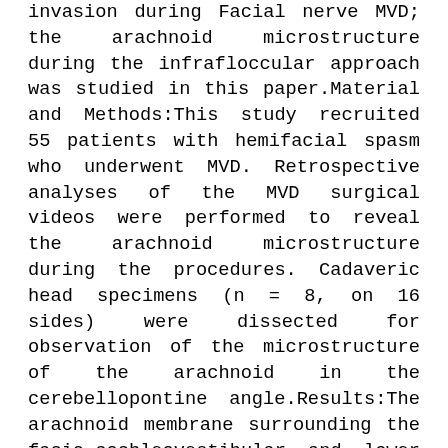invasion during Facial nerve MVD; the arachnoid microstructure during the infrafloccular approach was studied in this paper.Material and Methods:This study recruited 55 patients with hemifacial spasm who underwent MVD. Retrospective analyses of the MVD surgical videos were performed to reveal the arachnoid microstructure during the procedures. Cadaveric head specimens (n = 8, on 16 sides) were dissected for observation of the microstructure of the arachnoid in the cerebellopontine angle.Results:The arachnoid membrane surrounding the facio-cochleovestibular and lower cranial nerves forms two arachnoid sheaths. Both arachnoid sheaths contain two parts: the outer membranous and inner trabecular part. The membranous part is an intact and translucent membrane that wraps around nerves. The inner trabecular part is located beneath the membranous part and forms a trabecular network that connects the membranous arachnoid, nerves, and blood vessels to form a physical structure.Conclusion:The arachnoid connects the facio-cochleovestibular and lower cranial nerves, blood vessels, and arachnoid membrane close inseparably. The reference in MVD